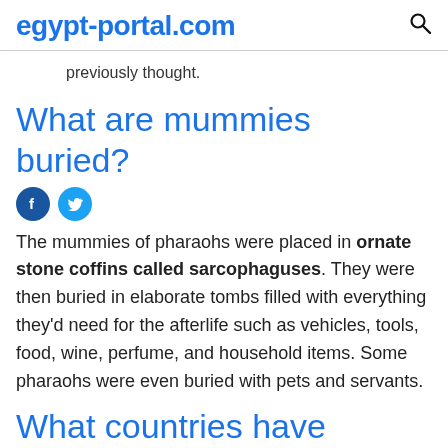egypt-portal.com
previously thought.
What are mummies buried?
[Figure (other): Facebook and Twitter social sharing icons]
The mummies of pharaohs were placed in ornate stone coffins called sarcophaguses. They were then buried in elaborate tombs filled with everything they'd need for the afterlife such as vehicles, tools, food, wine, perfume, and household items. Some pharaohs were even buried with pets and servants.
What countries have